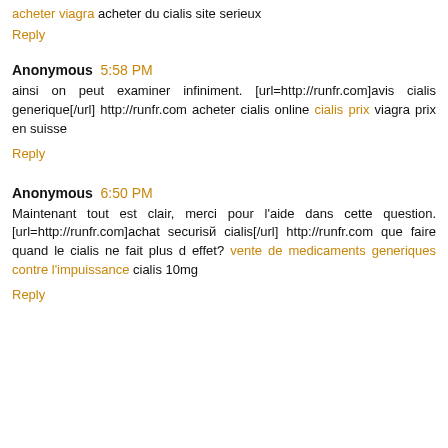acheter viagra acheter du cialis site serieux
Reply
Anonymous 5:58 PM
ainsi on peut examiner infiniment. [url=http://runfr.com]avis cialis generique[/url] http://runfr.com acheter cialis online cialis prix viagra prix en suisse
Reply
Anonymous 6:50 PM
Maintenant tout est clair, merci pour l'aide dans cette question. [url=http://runfr.com]achat securisй cialis[/url] http://runfr.com que faire quand le cialis ne fait plus d effet? vente de medicaments generiques contre l'impuissance cialis 10mg
Reply